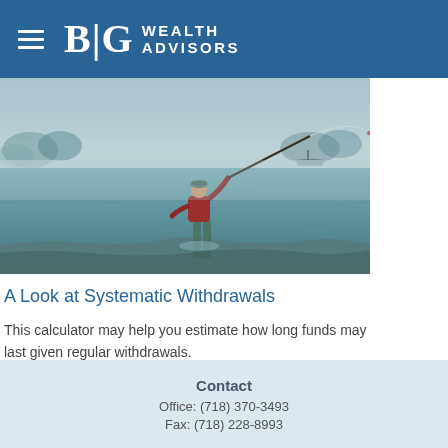BG WEALTH ADVISORS
[Figure (photo): A fly fisherman standing in misty water, casting a fishing rod, with foggy lake and boat in background]
A Look at Systematic Withdrawals
This calculator may help you estimate how long funds may last given regular withdrawals.
Contact
Office: (718) 370-3493
Fax: (718) 228-8993